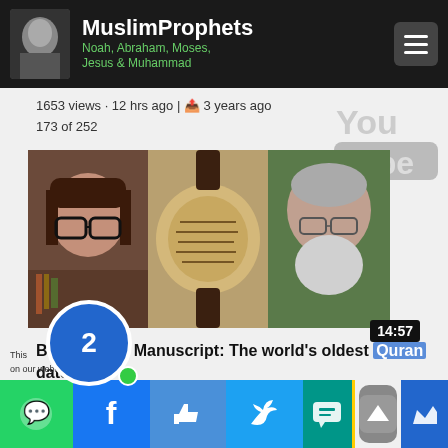MuslimProphets
Noah, Abraham, Moses, Jesus & Muhammad
1653 views · 12 hrs ago | 3 years ago
173 of 252
[Figure (screenshot): YouTube video thumbnail showing three people: a woman with dark hair and glasses on the left, an ancient manuscript in the center, and a bearded older man on the right. Time badge shows 14:57.]
Birmingham Manuscript: The world's oldest Quran dates to Muhammad's life - Rebecca Watson
[Figure (other): Bottom bar with social sharing icons: WhatsApp, Facebook, Like, Twitter, SMS, scroll-up button, and crown icon. Notification bubble showing '2'.]